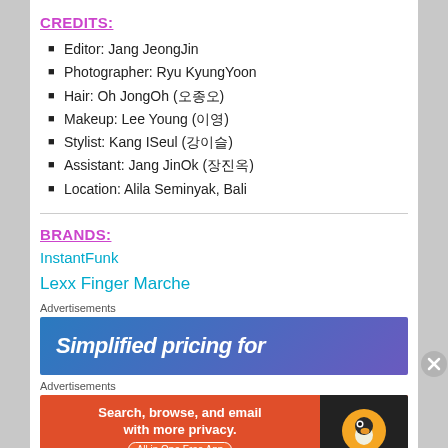CREDITS:
Editor: Jang JeongJin
Photographer: Ryu KyungYoon
Hair: Oh JongOh (오종오)
Makeup: Lee Young (이영)
Stylist: Kang ISeul (강이슬)
Assistant: Jang JinOk (장진옥)
Location: Alila Seminyak, Bali
BRANDS:
InstantFunk
Lexx Finger Marche
Advertisements
[Figure (other): Advertisement banner: Simplified pricing for]
Advertisements
[Figure (other): DuckDuckGo advertisement: Search, browse, and email with more privacy. All in One Free App]